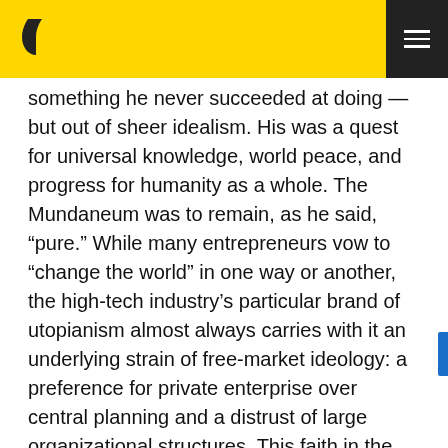something he never succeeded at doing — but out of sheer idealism. His was a quest for universal knowledge, world peace, and progress for humanity as a whole. The Mundaneum was to remain, as he said, “pure.” While many entrepreneurs vow to “change the world” in one way or another, the high-tech industry’s particular brand of utopianism almost always carries with it an underlying strain of free-market ideology: a preference for private enterprise over central planning and a distrust of large organizational structures. This faith in the power of “bottom-up” initiatives has long been a hallmark of Silicon Valley culture, and one that all but precludes the possibility of a large-scale knowledge network emanating from anywhere but the private sector